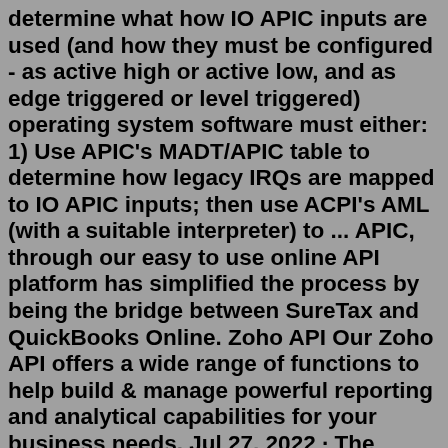determine what how IO APIC inputs are used (and how they must be configured - as active high or active low, and as edge triggered or level triggered) operating system software must either: 1) Use APIC's MADT/APIC table to determine how legacy IRQs are mapped to IO APIC inputs; then use ACPI's AML (with a suitable interpreter) to ... APIC, through our easy to use online API platform has simplified the process by being the bridge between SureTax and QuickBooks Online. Zoho API Our Zoho API offers a wide range of functions to help build & manage powerful reporting and analytical capabilities for your business needs. Jul 27, 2022 · The procedures for subscribing to the CCR vary depending on the release of the Cisco Cloud APIC software: For releases up to 25.0(3), Cisco Cloud APIC uses the CSR 1000v as the cloud services router, so refer to the procedures in Subscribing to the Cisco Cloud Services Router 1000V. You can use one of the following methods to install your Cisco APIC software in a server: Using a PXE server Using virtual media Note You can use the